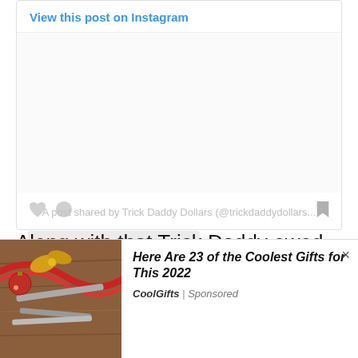View this post on Instagram
[Figure (screenshot): Instagram post embed placeholder with heart icon, comment icon, bookmark icon, and two gray loading bars. Bottom attribution text reads: A post shared by Trick Daddy Dollars (@trickdaddydollars...]
A post shared by Trick Daddy Dollars (@trickdaddydollars...
Along with that Trick Daddy owed $280,000 in
[Figure (photo): Advertisement image showing tools and Christmas decorations on a wooden table]
Here Are 23 of the Coolest Gifts for This 2022
CoolGifts | Sponsored